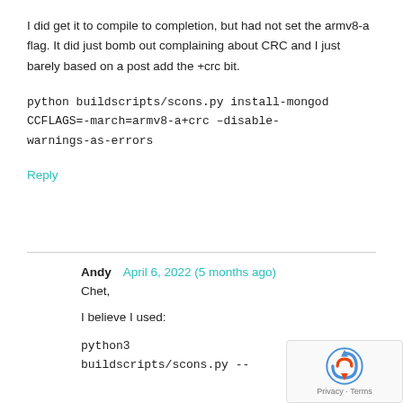I did get it to compile to completion, but had not set the armv8-a flag. It did just bomb out complaining about CRC and I just barely based on a post add the +crc bit.
python buildscripts/scons.py install-mongod CCFLAGS=-march=armv8-a+crc –disable-warnings-as-errors
Reply
Andy   April 6, 2022 (5 months ago)
Chet,
I believe I used:
python3
buildscripts/scons.py --